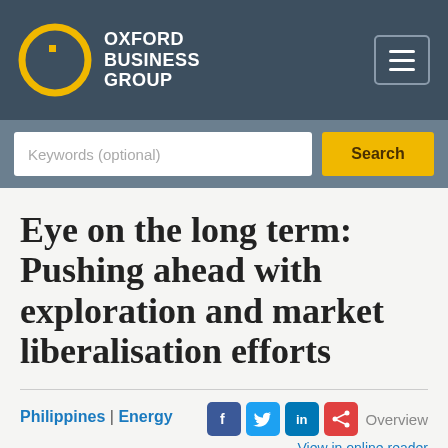OXFORD BUSINESS GROUP
Keywords (optional)
Eye on the long term: Pushing ahead with exploration and market liberalisation efforts
Philippines | Energy
Overview  View in online reader